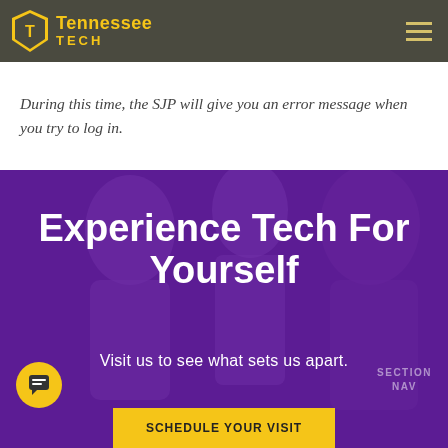Tennessee Tech
During this time, the SJP will give you an error message when you try to log in.
[Figure (photo): Purple-tinted banner photo of students smiling, overlaid with text 'Experience Tech For Yourself' and 'Visit us to see what sets us apart.' with a Schedule Your Visit button at the bottom.]
Experience Tech For Yourself
Visit us to see what sets us apart.
SCHEDULE YOUR VISIT